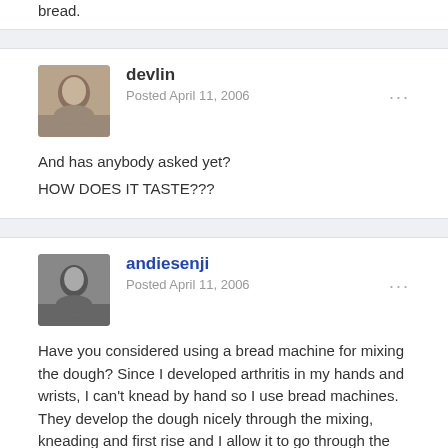bread.
devlin
Posted April 11, 2006
And has anybody asked yet?
HOW DOES IT TASTE???
andiesenji
Posted April 11, 2006
Have you considered using a bread machine for mixing the dough? Since I developed arthritis in my hands and wrists, I can't knead by hand so I use bread machines. They develop the dough nicely through the mixing, kneading and first rise and I allow it to go through the second kneading cycle then pull the dough out of the pan, shape and proof it or I sometimes pull it out of the pan after the first knead, refrigerate it overnight, then put it back in